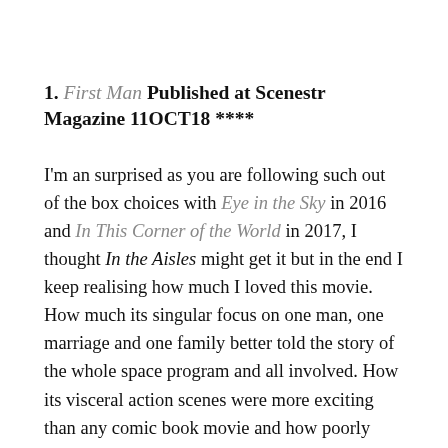1. First Man Published at Scenestr Magazine 11OCT18 ****
I'm an surprised as you are following such out of the box choices with Eye in the Sky in 2016 and In This Corner of the World in 2017, I thought In the Aisles might get it but in the end I keep realising how much I loved this movie. How much its singular focus on one man, one marriage and one family better told the story of the whole space program and all involved. How its visceral action scenes were more exciting than any comic book movie and how poorly overlooked the wonderful performances from Ryan Gosling and Claire Foy were. Most importantly of all how much my heart aches looking back and thinking of that scene on